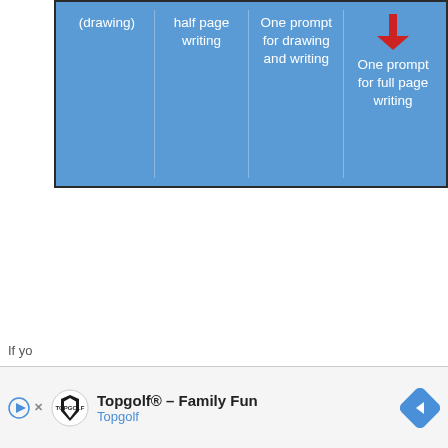[Figure (infographic): Blue box with four columns showing progression of writing prompts: (drawing), half page writing, One prompt for drawing and writing, One prompt for full page writing. A red downward arrow points to the last column.]
If yo...
Grou... also
[Figure (infographic): Advertisement bar for Topgolf - Family Fun, showing Topgolf logo, play button, X button, and a blue navigation arrow.]